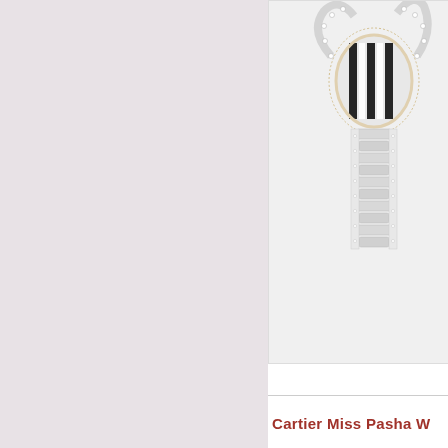[Figure (photo): Diamond-encrusted Cartier watch or jewelry piece with ornate key/crown shape, featuring black and white enamel dial and pavé diamond setting on white metal bracelet, cropped at top]
Cartier Miss Pasha W
[Figure (photo): Cartier Miss Pasha watch with yellow gold diamond-set bezel, white/silver dial with Arabic numerals, blue steel hands, yellow gold bracelet, partially cropped]